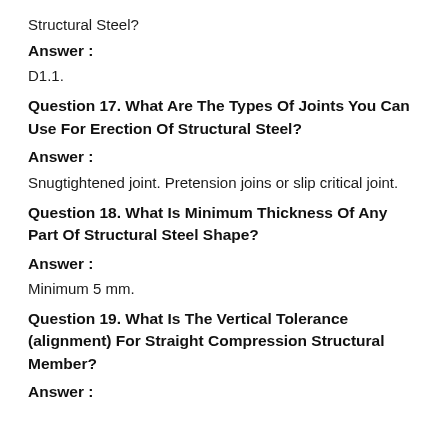Structural Steel?
Answer :
D1.1.
Question 17. What Are The Types Of Joints You Can Use For Erection Of Structural Steel?
Answer :
Snugtightened joint. Pretension joins or slip critical joint.
Question 18. What Is Minimum Thickness Of Any Part Of Structural Steel Shape?
Answer :
Minimum 5 mm.
Question 19. What Is The Vertical Tolerance (alignment) For Straight Compression Structural Member?
Answer :